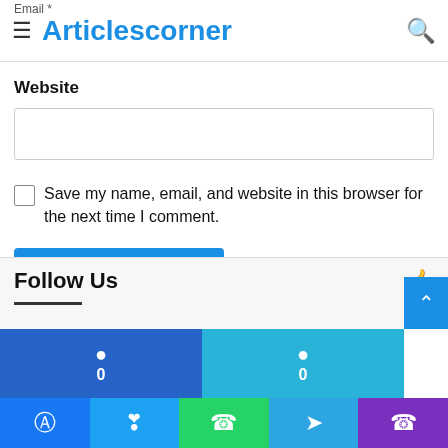Articlescorner
Email *
Website
Save my name, email, and website in this browser for the next time I comment.
Post Comment
Follow Us
[Figure (screenshot): Social share buttons showing 0 shares for Facebook (blue) and 0 for another social network (cyan)]
[Figure (screenshot): Bottom navigation bar with Facebook, Twitter, WhatsApp, Telegram, and Phone icons]